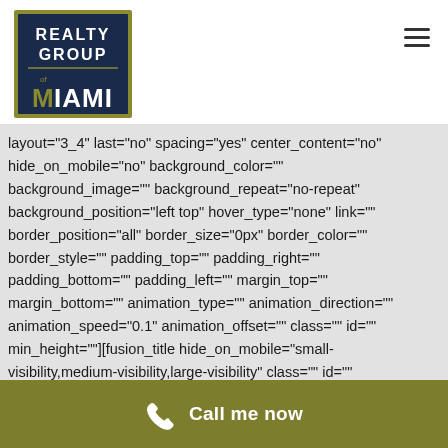[Figure (logo): Realty Group of Miami logo - dark navy rectangle with gold/olive border, white text reading REALTY GROUP of MIAMI]
layout="3_4" last="no" spacing="yes" center_content="no" hide_on_mobile="no" background_color="" background_image="" background_repeat="no-repeat" background_position="left top" hover_type="none" link="" border_position="all" border_size="0px" border_color="" border_style="" padding_top="" padding_right="" padding_bottom="" padding_left="" margin_top="" margin_bottom="" animation_type="" animation_direction="" animation_speed="0.1" animation_offset="" class="" id="" min_height=""][fusion_title hide_on_mobile="small-visibility,medium-visibility,large-visibility" class="" id="" content_align="left" size="2" font_size="" line_height=""
Call me now